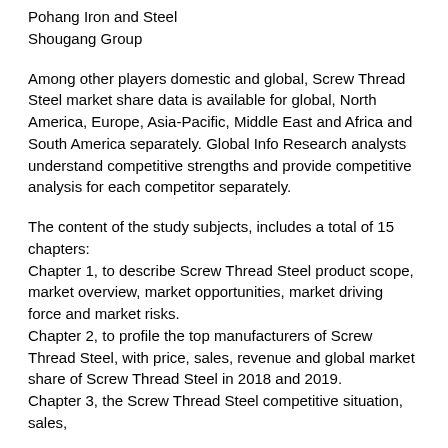Pohang Iron and Steel
Shougang Group
Among other players domestic and global, Screw Thread Steel market share data is available for global, North America, Europe, Asia-Pacific, Middle East and Africa and South America separately. Global Info Research analysts understand competitive strengths and provide competitive analysis for each competitor separately.
The content of the study subjects, includes a total of 15 chapters:
Chapter 1, to describe Screw Thread Steel product scope, market overview, market opportunities, market driving force and market risks.
Chapter 2, to profile the top manufacturers of Screw Thread Steel, with price, sales, revenue and global market share of Screw Thread Steel in 2018 and 2019.
Chapter 3, the Screw Thread Steel competitive situation, sales,